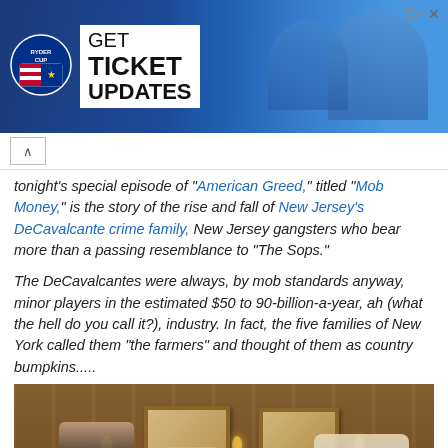[Figure (other): Ryder Cup advertisement banner — GET TICKET UPDATES with Ryder Cup logo and golfers in blue background]
tonight's special episode of "American Greed," titled "Mob Money," is the story of the rise and fall of New Jersey's DeCavalcante crime family, New Jersey gangsters who bear more than a passing resemblance to "The Sops."

The DeCavalcantes were always, by mob standards anyway, minor players in the estimated $50 to 90-billion-a-year, ah (what the hell do you call it?), industry. In fact, the five families of New York called them "the farmers" and thought of them as country bumpkins.....
[Figure (photo): Interior scene showing people seated at a table in a wood-paneled room with framed pictures and wall sconces]